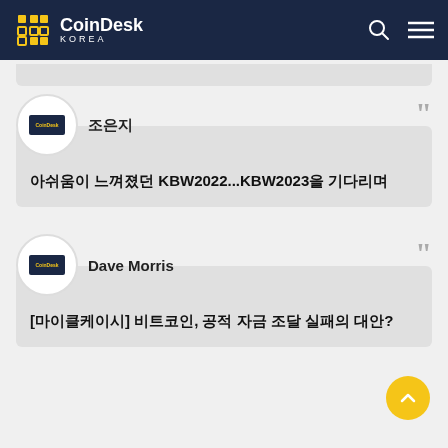CoinDesk KOREA
조은지
아쉬움이 느껴졌던 KBW2022...KBW2023을 기다리며
Dave Morris
[마이클케이시] 비트코인, 공적 자금 조달 실패의 대안?